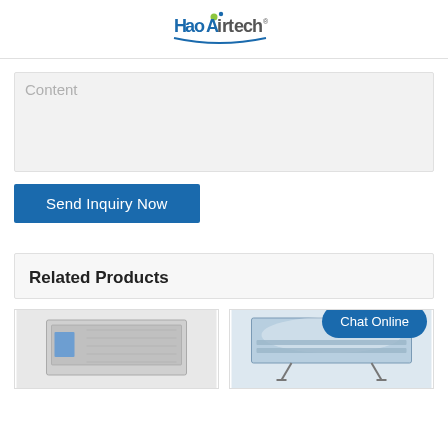[Figure (logo): HaoAirtech company logo with stylized text and dot accents]
Content
Send Inquiry Now
Related Products
[Figure (photo): Product photo of a flat panel air filtration unit]
[Figure (photo): Product photo of an air filtration unit with frame stand]
Chat Online